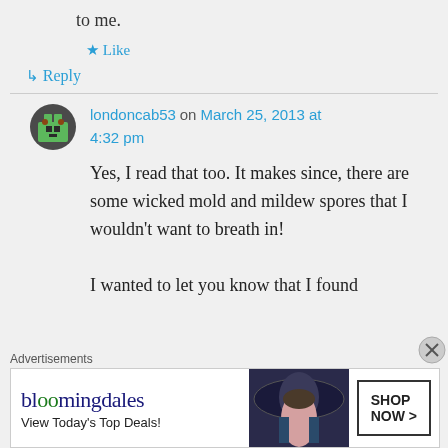to me.
★ Like
↳ Reply
londoncab53 on March 25, 2013 at 4:32 pm
Yes, I read that too. It makes since, there are some wicked mold and mildew spores that I wouldn't want to breath in! I wanted to let you know that I found
Advertisements
[Figure (screenshot): Bloomingdale's advertisement banner with text 'bloomingdales View Today's Top Deals!' and 'SHOP NOW >' button, with an image of a woman in a wide-brim hat]